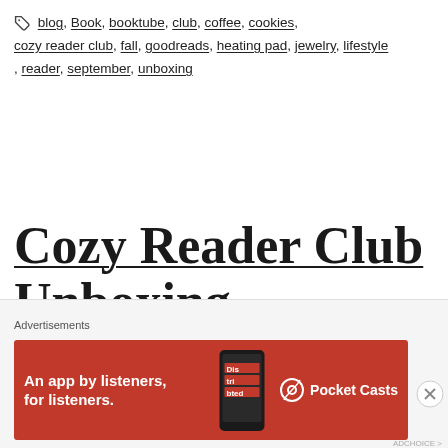blog, Book, booktube, club, coffee, cookies, cozy reader club, fall, goodreads, heating pad, jewelry, lifestyle, reader, september, unboxing
Cozy Reader Club Unboxing
[Figure (logo): Partial view of a circular logo in salmon/coral red color, showing concentric arcs forming the top of a circle, visible from below cropped at bottom of viewable area]
Advertisements
[Figure (other): Pocket Casts advertisement banner: red background, white text 'An app by listeners, for listeners.' with phone image and Pocket Casts logo]